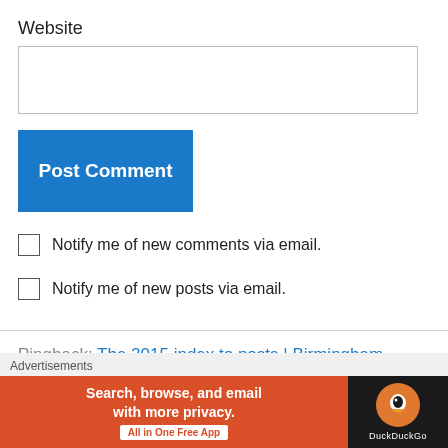Website
Post Comment
Notify me of new comments via email.
Notify me of new posts via email.
Pingback: The 2015 index to posts | Birmingham Blogging Academy
Advertisements
[Figure (screenshot): DuckDuckGo advertisement banner: 'Search, browse, and email with more privacy. All in One Free App' with DuckDuckGo logo on dark background]